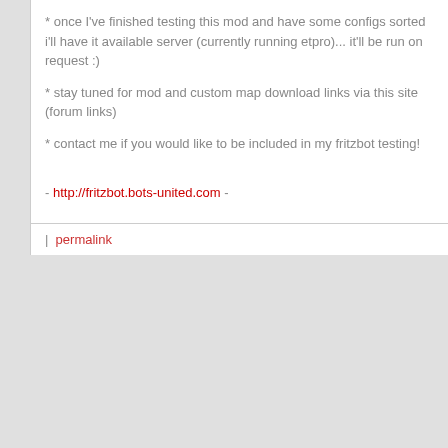* once I've finished testing this mod and have some configs sorted i'll have it available server (currently running etpro)... it'll be run on request :)
* stay tuned for mod and custom map download links via this site (forum links)
* contact me if you would like to be included in my fritzbot testing!
- http://fritzbot.bots-united.com -
| permalink
<<First <Back | 40 | 41 | 42 | 43 | 44 | 45 | 46 | 47 | 48 | 49 | Next> Last